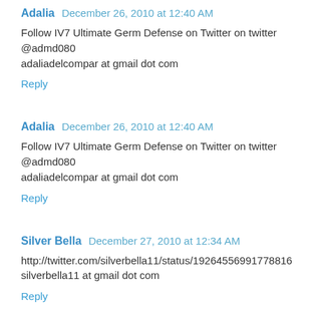Adalia  December 26, 2010 at 12:40 AM
Follow IV7 Ultimate Germ Defense on Twitter on twitter @admd080
adaliadelcompar at gmail dot com
Reply
Adalia  December 26, 2010 at 12:40 AM
Follow IV7 Ultimate Germ Defense on Twitter on twitter @admd080
adaliadelcompar at gmail dot com
Reply
Silver Bella  December 27, 2010 at 12:34 AM
http://twitter.com/silverbella11/status/19264556991778816
silverbella11 at gmail dot com
Reply